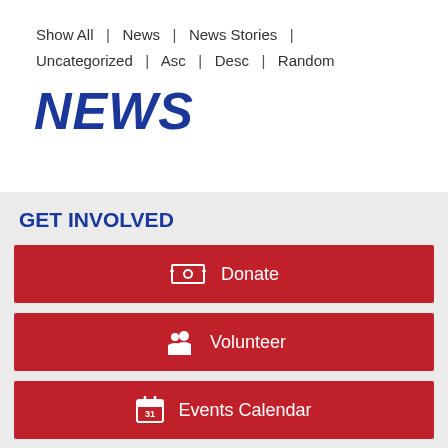Show All  |  News  |  News Stories  |  Uncategorized  |  Asc  |  Desc  |  Random
NEWS
GET INVOLVED
Donate
Volunteer
Events Calendar